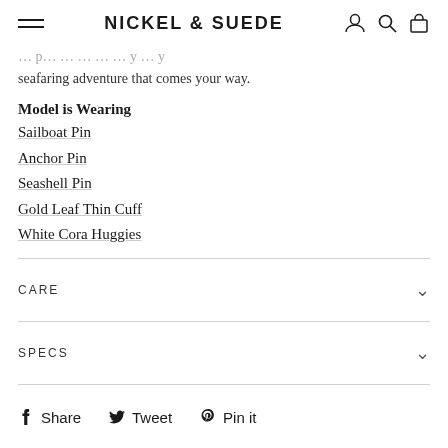NICKEL & SUEDE
seafaring adventure that comes your way.
Model is Wearing
Sailboat Pin
Anchor Pin
Seashell Pin
Gold Leaf Thin Cuff
White Cora Huggies
CARE
SPECS
Share   Tweet   Pin it